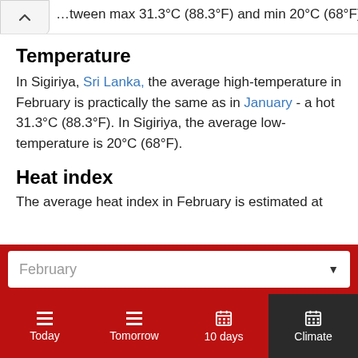…tween max 31.3°C (88.3°F) and min 20°C (68°F).
Temperature
In Sigiriya, Sri Lanka, the average high-temperature in February is practically the same as in January - a hot 31.3°C (88.3°F). In Sigiriya, the average low-temperature is 20°C (68°F).
Heat index
The average heat index in February is estimated at…
February
Today
Tomorrow
10 days
Climate